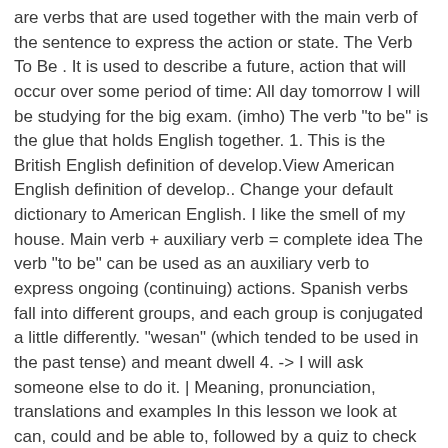are verbs that are used together with the main verb of the sentence to express the action or state. The Verb To Be . It is used to describe a future, action that will occur over some period of time: All day tomorrow I will be studying for the big exam. (imho) The verb "to be" is the glue that holds English together. 1. This is the British English definition of develop.View American English definition of develop.. Change your default dictionary to American English. I like the smell of my house. Main verb + auxiliary verb = complete idea The verb "to be" can be used as an auxiliary verb to express ongoing (continuing) actions. Spanish verbs fall into different groups, and each group is conjugated a little differently. "wesan" (which tended to be used in the past tense) and meant dwell 4. -> I will ask someone else to do it. | Meaning, pronunciation, translations and examples In this lesson we look at can, could and be able to, followed by a quiz to check your understanding.. can Home refreshes me. For example: John is angry. The definition of a verb is a word that expresses action or a state of being. The verb to be is the most